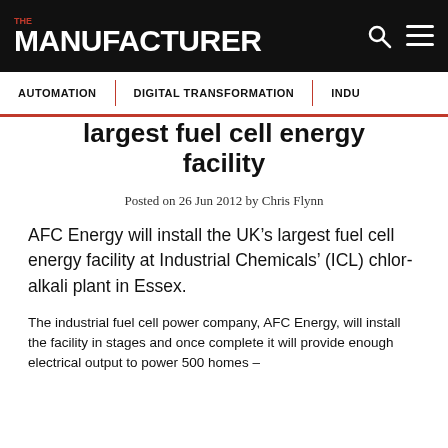THE MANUFACTURER
AUTOMATION | DIGITAL TRANSFORMATION | INDU
largest fuel cell energy facility
Posted on 26 Jun 2012 by Chris Flynn
AFC Energy will install the UK’s largest fuel cell energy facility at Industrial Chemicals’ (ICL) chlor-alkali plant in Essex.
The industrial fuel cell power company, AFC Energy, will install the facility in stages and once complete it will provide enough electrical output to power 500 homes –